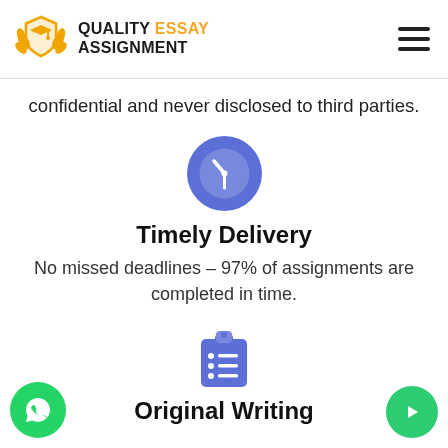[Figure (logo): Quality Essay Assignment logo with shield icon, graduation cap, laurel wreath in orange/black]
confidential and never disclosed to third parties.
[Figure (illustration): Blue circle clock icon]
Timely Delivery
No missed deadlines – 97% of assignments are completed in time.
[Figure (illustration): Blue clipboard with checklist icon]
Original Writing